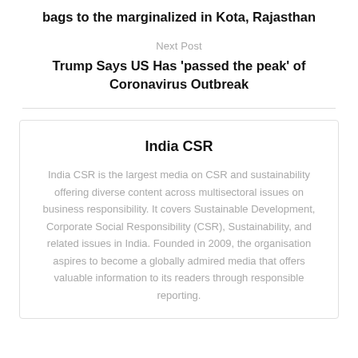bags to the marginalized in Kota, Rajasthan
Next Post
Trump Says US Has 'passed the peak' of Coronavirus Outbreak
India CSR
India CSR is the largest media on CSR and sustainability offering diverse content across multisectoral issues on business responsibility. It covers Sustainable Development, Corporate Social Responsibility (CSR), Sustainability, and related issues in India. Founded in 2009, the organisation aspires to become a globally admired media that offers valuable information to its readers through responsible reporting.